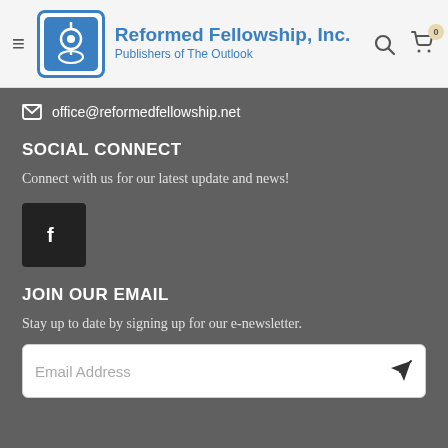Reformed Fellowship, Inc. Publishers of The Outlook
office@reformedfellowship.net
SOCIAL CONNECT
Connect with us for our latest update and news!
[Figure (logo): Facebook logo icon button]
JOIN OUR EMAIL
Stay up to date by signing up for our e-newsletter.
Email Address